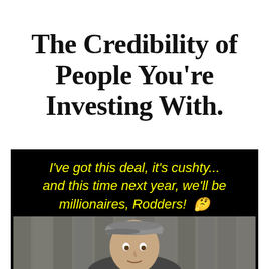The Credibility of People You're Investing With.
[Figure (photo): Black background with yellow italic text reading: I've got this deal, it's cushty... and this time next year, we'll be millionaires, Rodders! 🤔 — below which is a photo of a man wearing a flat cap, referencing the Only Fools and Horses TV show character Del Boy.]